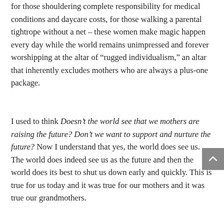for those shouldering complete responsibility for medical conditions and daycare costs, for those walking a parental tightrope without a net – these women make magic happen every day while the world remains unimpressed and forever worshipping at the altar of “rugged individualism,” an altar that inherently excludes mothers who are always a plus-one package.
I used to think Doesn’t the world see that we mothers are raising the future? Don’t we want to support and nurture the future? Now I understand that yes, the world does see us. The world does indeed see us as the future and then the world does its best to shut us down early and quickly. This is true for us today and it was true for our mothers and it was true our grandmothers.